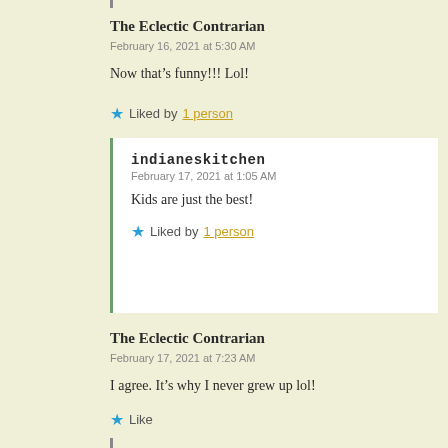The Eclectic Contrarian
February 16, 2021 at 5:30 AM
Now that’s funny!!! Lol!
★ Liked by 1 person
indianeskitchen
February 17, 2021 at 1:05 AM
Kids are just the best!
★ Liked by 1 person
The Eclectic Contrarian
February 17, 2021 at 7:23 AM
I agree. It’s why I never grew up lol!
★ Like